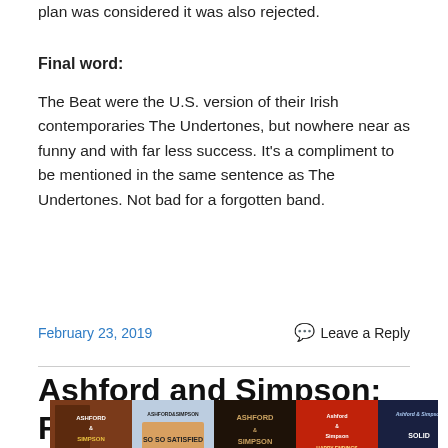plan was considered it was also rejected.
Final word:
The Beat were the U.S. version of their Irish contemporaries The Undertones, but nowhere near as funny and with far less success. It's a compliment to be mentioned in the same sentence as The Undertones. Not bad for a forgotten band.
February 23, 2019    💬 Leave a Reply
Ashford and Simpson: Remember me as a sunny day
[Figure (photo): Row of six Ashford and Simpson album covers]